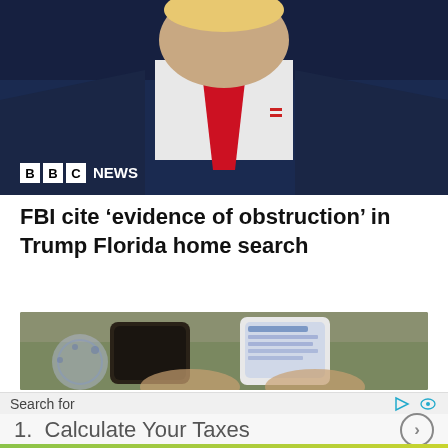[Figure (photo): BBC News screenshot showing a man in a dark suit with red tie, with BBC NEWS logo overlay in the lower left]
FBI cite ‘evidence of obstruction’ in Trump Florida home search
[Figure (photo): Two smartphones held in hands showing text message screens, with blurred background]
Search for
1.  Calculate Your Taxes